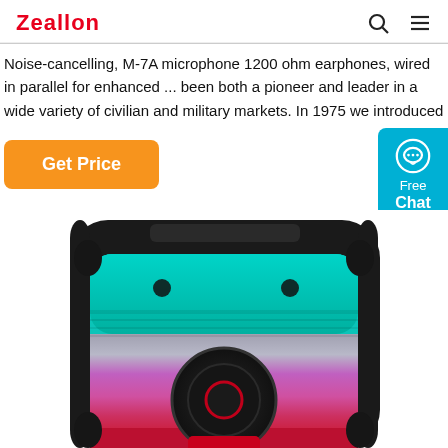Zeallon
Noise-cancelling, M-7A microphone 1200 ohm earphones, wired in parallel for enhanced ... been both a pioneer and leader in a wide variety of civilian and military markets. In 1975 we introduced
[Figure (other): Orange 'Get Price' button]
[Figure (other): Cyan/blue chat widget with speech bubble icon, labeled 'Free Chat']
[Figure (photo): Photo of a black portable Bluetooth speaker with colorful RGB LED lighting on the grill, showing teal/cyan at top, rainbow spectrum in middle, pink/purple and red at bottom, with two tweeter dots and a large subwoofer circle visible.]